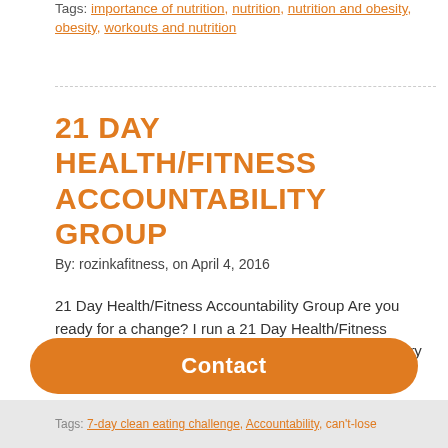Tags: importance of nutrition, nutrition, nutrition and obesity, obesity, workouts and nutrition
21 DAY HEALTH/FITNESS ACCOUNTABILITY GROUP
By: rozinkafitness, on April 4, 2016
21 Day Health/Fitness Accountability Group Are you ready for a change? I run a 21 Day Health/Fitness Accountability Groups through Facebook that run every month. Spots are limited to 5-10...
Continue Reading
Contact
Tags: 7-day clean eating challenge, Accountability, can't-lose